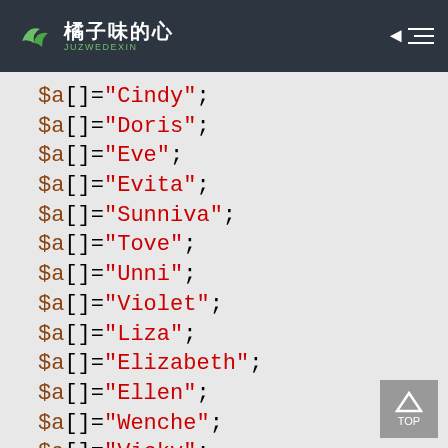橘子味的心 JUZWEDEXIN
$a[]="Cindy";
$a[]="Doris";
$a[]="Eve";
$a[]="Evita";
$a[]="Sunniva";
$a[]="Tove";
$a[]="Unni";
$a[]="Violet";
$a[]="Liza";
$a[]="Elizabeth";
$a[]="Ellen";
$a[]="Wenche";
$a[]="Vicky";

//从URL中获取变量 q 的值
$q=$_GET["q"];